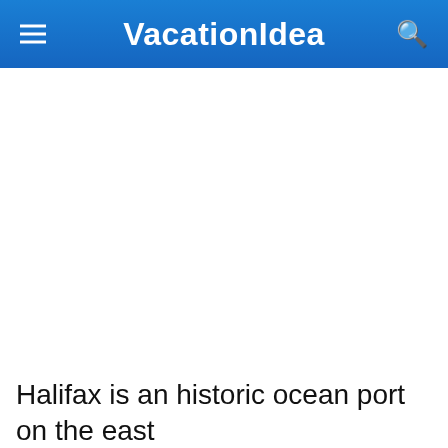VacationIdea
[Figure (photo): Large white/blank image area below the navigation header]
Halifax is an historic ocean port on the east